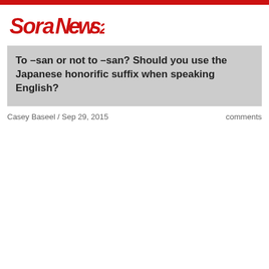SoraNews24
To –san or not to –san? Should you use the Japanese honorific suffix when speaking English?
Casey Baseel / Sep 29, 2015    comments